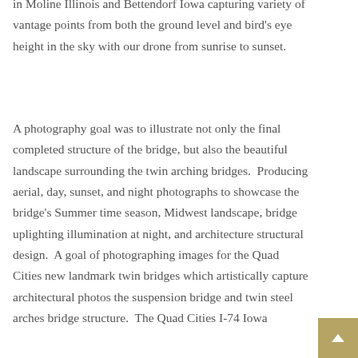in Moline Illinois and Bettendorf Iowa capturing variety of vantage points from both the ground level and bird's eye height in the sky with our drone from sunrise to sunset.
A photography goal was to illustrate not only the final completed structure of the bridge, but also the beautiful landscape surrounding the twin arching bridges.  Producing aerial, day, sunset, and night photographs to showcase the bridge's Summer time season, Midwest landscape, bridge uplighting illumination at night, and architecture structural design.  A goal of photographing images for the Quad Cities new landmark twin bridges which artistically capture architectural photos the suspension bridge and twin steel arches bridge structure.  The Quad Cities I-74 Iowa Illinois bridge was built and is located on...